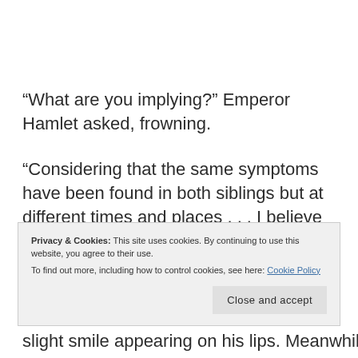“What are you implying?” Emperor Hamlet asked, frowning.
“Considering that the same symptoms have been found in both siblings but at different times and places . . . I believe the initial reports of an accident in the wilderness causing young master Tanuki’s mental break are false. It is more likely a
Privacy & Cookies: This site uses cookies. By continuing to use this website, you agree to their use.
To find out more, including how to control cookies, see here: Cookie Policy
slight smile appearing on his lips. Meanwhile, Tetra